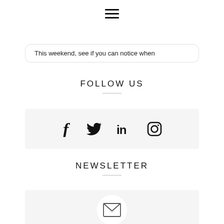[Figure (other): Hamburger menu icon (three horizontal lines) at top center of page]
This weekend, see if you can notice when
FOLLOW US
[Figure (infographic): Social media icons row on light grey background: Facebook (f), Twitter (bird), LinkedIn (in), Instagram (camera)]
NEWSLETTER
[Figure (infographic): Newsletter section with envelope/mail icon centered in a white circle on light grey background]